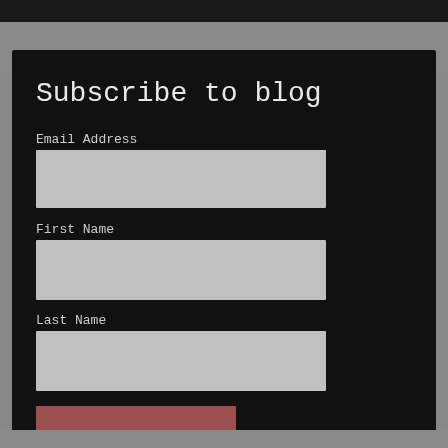Subscribe to blog
Email Address
First Name
Last Name
Subscribe